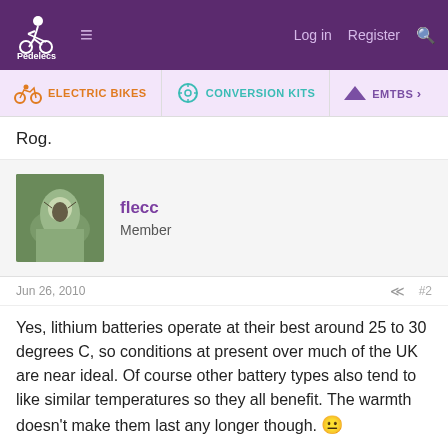Pedelecs — Log in  Register
ELECTRIC BIKES   CONVERSION KITS   EMTBS
Rog.
flecc
Member
Jun 26, 2010   #2
Yes, lithium batteries operate at their best around 25 to 30 degrees C, so conditions at present over much of the UK are near ideal. Of course other battery types also tend to like similar temperatures so they all benefit. The warmth doesn't make them last any longer though. 😐
.